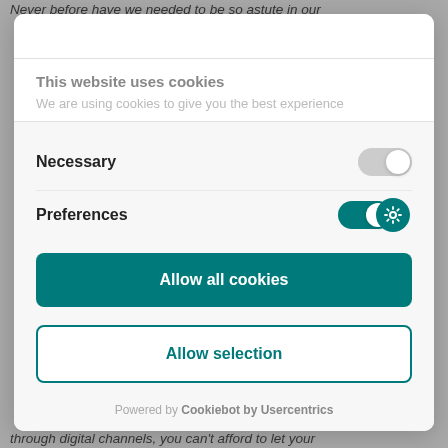Never before have we needed to be so astute in our
This website uses cookies
We are using cookies to give you the best experience
Necessary
Preferences
Allow all cookies
Allow selection
Powered by Cookiebot by Usercentrics
through digital channels, you can't afford to let your